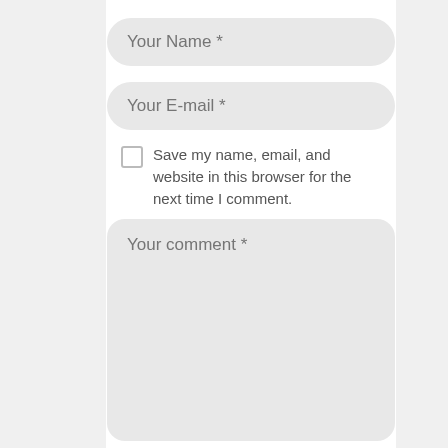[Figure (screenshot): Input field with placeholder text 'Your Name *']
[Figure (screenshot): Input field with placeholder text 'Your E-mail *']
Save my name, email, and website in this browser for the next time I comment.
[Figure (screenshot): Textarea with placeholder text 'Your comment *']
I agree that my submitted data is being collected and stored. For further details on handling user